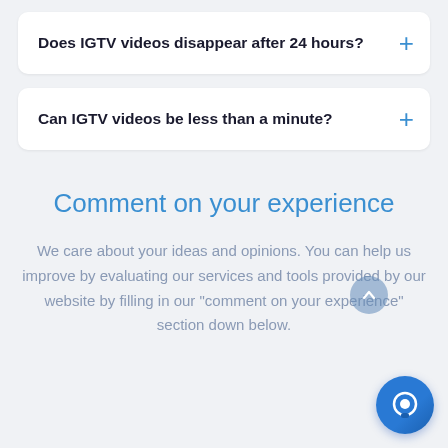Does IGTV videos disappear after 24 hours?
Can IGTV videos be less than a minute?
Comment on your experience
We care about your ideas and opinions. You can help us improve by evaluating our services and tools provided by our website by filling in our "comment on your experience" section down below.